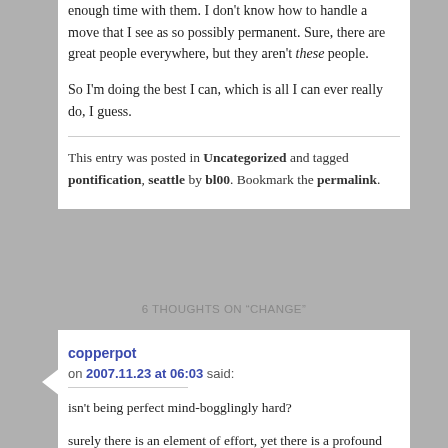enough time with them. I don't know how to handle a move that I see as so possibly permanent. Sure, there are great people everywhere, but they aren't these people.

So I'm doing the best I can, which is all I can ever really do, I guess.
This entry was posted in Uncategorized and tagged pontification, seattle by bl00. Bookmark the permalink.
6 THOUGHTS ON "CHANGE"
copperpot
on 2007.11.23 at 06:03 said:
isn't being perfect mind-bogglingly hard?
surely there is an element of effort, yet there is a profound